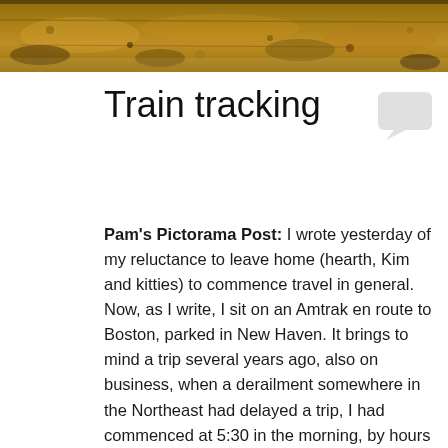[Figure (photo): Partial photo strip at top of page showing rocky/sandy ground with stones, taken from an elevated angle, warm brown and tan tones.]
Train tracking
Pam's Pictorama Post: I wrote yesterday of my reluctance to leave home (hearth, Kim and kitties) to commence travel in general. Now, as I write, I sit on an Amtrak en route to Boston, parked in New Haven. It brings to mind a trip several years ago, also on business, when a derailment somewhere in the Northeast had delayed a trip, I had commenced at 5:30 in the morning, by hours and hours in effect killing a day of business entirely and reminding me of why I always pack too much reading and food.
That day we inched our way up the east coast and I spent more than an hour on the train in this particular spot, looking at this same view. It was fall instead of spring. I think if you work in the Northeast and do any business travel this corridor (and perhaps this story) is familiar, although perhaps others have more tales of airports. Other than one occasion when it was late April and my flight in Boston was prevented from taking off